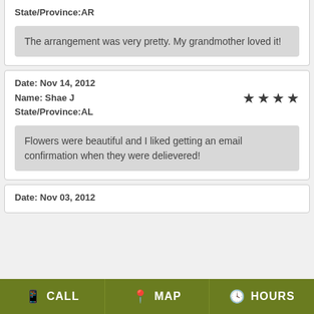State/Province:AR
The arrangement was very pretty. My grandmother loved it!
Date: Nov 14, 2012
Name: Shae J
State/Province:AL
Flowers were beautiful and I liked getting an email confirmation when they were delievered!
Date: Nov 03, 2012
CALL  MAP  HOURS